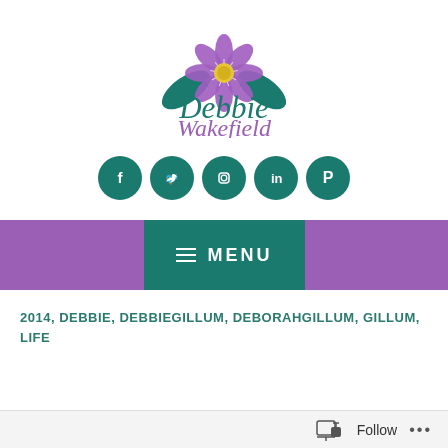[Figure (logo): Debbie Wakefield logo with purple flower and teal leaves above the name 'Debbie Wakefield' in teal and purple italic text]
[Figure (infographic): Row of five teal circular social media icons: Facebook, Twitter, Instagram, LinkedIn, Pinterest]
[Figure (infographic): Purple navigation bar with teal MENU button containing hamburger icon]
2014, DEBBIE, DEBBIEGILLUM, DEBORAHGILLUM, GILLUM, LIFE
[Figure (infographic): WordPress Follow bar at the bottom with follow icon, Follow text and ellipsis button]